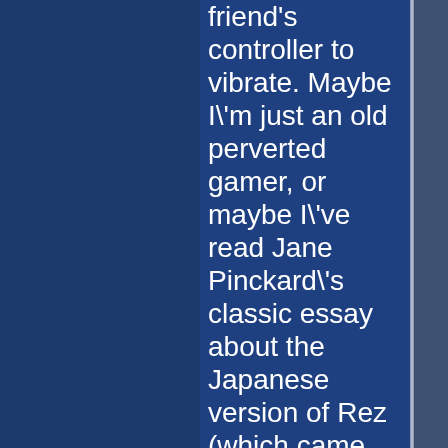friend's controller to vibrate. Maybe I'm just an old perverted gamer, or maybe I've read Jane Pinckard's classic essay about the Japanese version of Rez (which came packed with a vibrator peripheral) one too many times, but